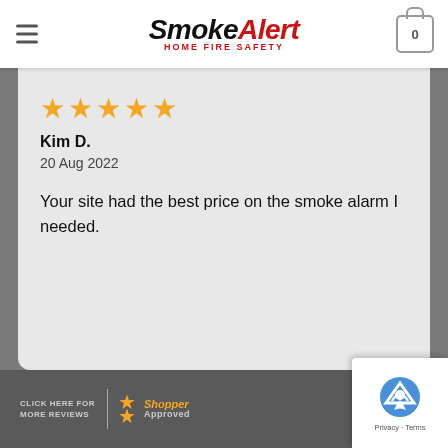SmokeAlert Home Fire Safety - navigation bar with logo and cart
★★★★★
Kim D.
20 Aug 2022
Your site had the best price on the smoke alarm I needed.
CLICK HERE FOR MORE REVIEWS — Shopper Approved